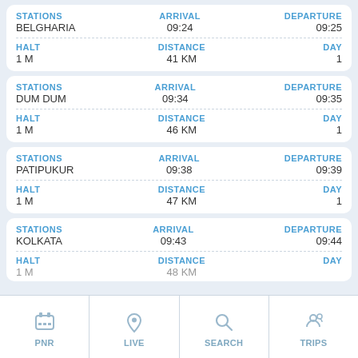| STATIONS | ARRIVAL | DEPARTURE |
| --- | --- | --- |
| BELGHARIA | 09:24 | 09:25 |
| HALT: 1 M | DISTANCE: 41 KM | DAY: 1 |
| STATIONS | ARRIVAL | DEPARTURE |
| --- | --- | --- |
| DUM DUM | 09:34 | 09:35 |
| HALT: 1 M | DISTANCE: 46 KM | DAY: 1 |
| STATIONS | ARRIVAL | DEPARTURE |
| --- | --- | --- |
| PATIPUKUR | 09:38 | 09:39 |
| HALT: 1 M | DISTANCE: 47 KM | DAY: 1 |
| STATIONS | ARRIVAL | DEPARTURE |
| --- | --- | --- |
| KOLKATA | 09:43 | 09:44 |
| HALT: 1 M | DISTANCE: 48 KM | DAY: 1 |
PNR | LIVE | SEARCH | TRIPS